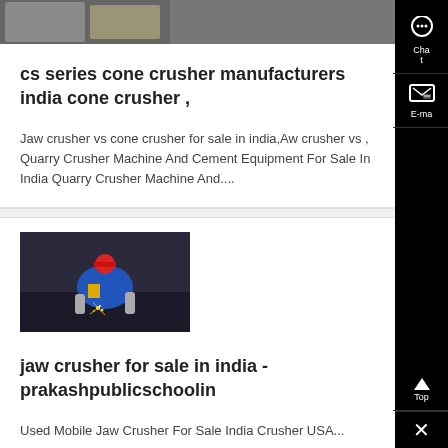[Figure (photo): Partial image at top of first card, partially cropped]
cs series cone crusher manufacturers india cone crusher ,
Jaw crusher vs cone crusher for sale in india,Aw crusher vs , Quarry Crusher Machine And Cement Equipment For Sale In India Quarry Crusher Machine And....
[Figure (photo): Person crouching and welding/working with sparks visible, wearing colorful clothing and red hard hat]
jaw crusher for sale in india - prakashpublicschoolin
Used Mobile Jaw Crusher For Sale India Crusher USA...
[Figure (photo): Partially visible image at bottom, shows green tarp or equipment]
[Figure (infographic): Black sidebar with chat headset icon (Chat), email/write icon (E-ma), up arrow (Top), and X close button]